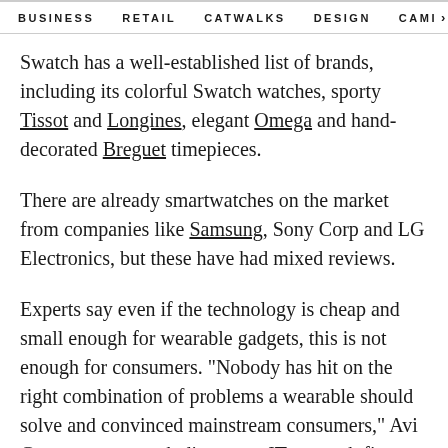BUSINESS   RETAIL   CATWALKS   DESIGN   CAMI >
Swatch has a well-established list of brands, including its colorful Swatch watches, sporty Tissot and Longines, elegant Omega and hand-decorated Breguet timepieces.
There are already smartwatches on the market from companies like Samsung, Sony Corp and LG Electronics, but these have had mixed reviews.
Experts say even if the technology is cheap and small enough for wearable gadgets, this is not enough for consumers. "Nobody has hit on the right combination of problems a wearable should solve and convinced mainstream consumers," Avi Greengart, research director at IT research firm Current Analysis, said.